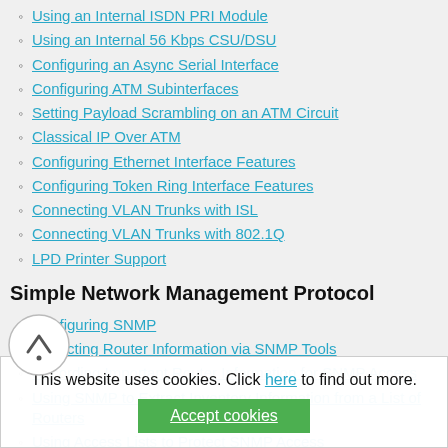Using an Internal ISDN PRI Module
Using an Internal 56 Kbps CSU/DSU
Configuring an Async Serial Interface
Configuring ATM Subinterfaces
Setting Payload Scrambling on an ATM Circuit
Classical IP Over ATM
Configuring Ethernet Interface Features
Configuring Token Ring Interface Features
Connecting VLAN Trunks with ISL
Connecting VLAN Trunks with 802.1Q
LPD Printer Support
Simple Network Management Protocol
Configuring SNMP
Extracting Router Information via SNMP Tools
Recording Important Router Information for SNMP Access
Using SNMP to Extract Inventory Information from a List of Routers
Using Access Lists to Protect SNMP Access
Logging Unauthorized SNMP Attempts
Using SNMP to Copy a New IOS Image